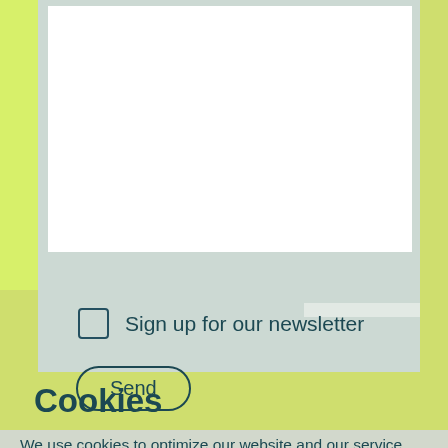[Figure (screenshot): Partial view of a web form with a white input area, a checkbox labeled 'Sign up for our newsletter', and a 'Send' button, on a light gray background with a lime-green accent stripe on the left.]
Sign up for our newsletter
Send
Cookies
We use cookies to optimize our website and our service.
Decline
Accept
Privacy Policy   Imprint